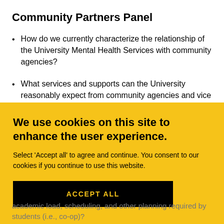Community Partners Panel
How do we currently characterize the relationship of the University Mental Health Services with community agencies?
What services and supports can the University reasonably expect from community agencies and vice versa?
[Figure (other): Cookie consent banner overlay with yellow background. Contains heading 'We use cookies on this site to enhance the user experience.', body text 'Select 'Accept all' to agree and continue. You consent to our cookies if you continue to use this website.' and a black button labeled 'ACCEPT ALL'.]
academic load, scheduling, and other planning required by students (i.e., co-op)?